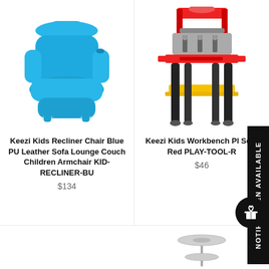[Figure (photo): Blue PU leather kids recliner sofa chair]
Keezi Kids Recliner Chair Blue PU Leather Sofa Lounge Couch Children Armchair KID-RECLINER-BU
$134
[Figure (photo): Kids workbench playset toy - red, with tools and accessories]
Keezi Kids Workbench Pl Set - Red PLAY-TOOL-R
$46
NOTIFY WHEN AVAILABLE